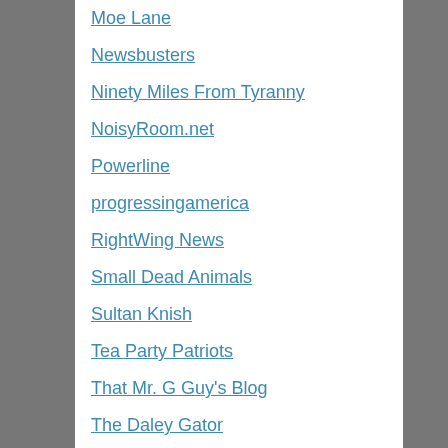Moe Lane
Newsbusters
Ninety Miles From Tyranny
NoisyRoom.net
Powerline
progressingamerica
RightWing News
Small Dead Animals
Sultan Knish
Tea Party Patriots
That Mr. G Guy's Blog
The Daley Gator
The Dryer Report
The Evil Blogger Lady
The Heritage Foundation
The Library of Law and Liberty